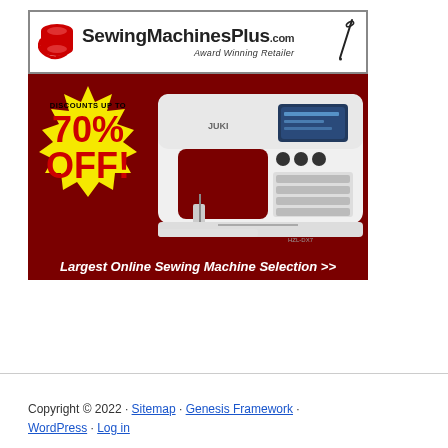[Figure (infographic): SewingMachinesPlus.com advertisement banner showing logo with red spool and needle, a sewing machine photo on dark red background, starburst badge reading 'DISCOUNTS UP TO 70% OFF!', and bottom text 'Largest Online Sewing Machine Selection >>']
Copyright © 2022 · Sitemap · Genesis Framework · WordPress · Log in